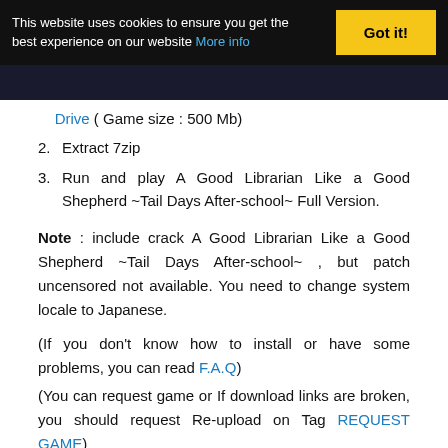This website uses cookies to ensure you get the best experience on our website More info | Got it!
Drive ( Game size : 500 Mb)
2. Extract 7zip
3. Run and play A Good Librarian Like a Good Shepherd ~Tail Days After-school~ Full Version.
Note : include crack A Good Librarian Like a Good Shepherd ~Tail Days After-school~ , but patch uncensored not available. You need to change system locale to Japanese.
(If you don't know how to install or have some problems, you can read F.A.Q)
(You can request game or If download links are broken, you should request Re-upload on Tag REQUEST GAME)
Video Tutorial Download Game Sweet Home – My Sexy Roommates SKIDROW